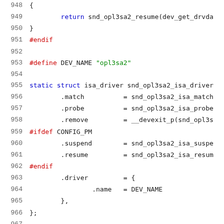[Figure (screenshot): Source code listing in C, lines 948-968, showing opl3sa2 Linux kernel driver code with syntax highlighting. Lines include closing brace, return statement, endif, define DEV_NAME, static struct isa_driver definition with .match, .probe, .remove, #ifdef CONFIG_PM, .suspend, .resume, #endif, .driver block, and static int __init alsa_card_opl3sa2_init(void).]